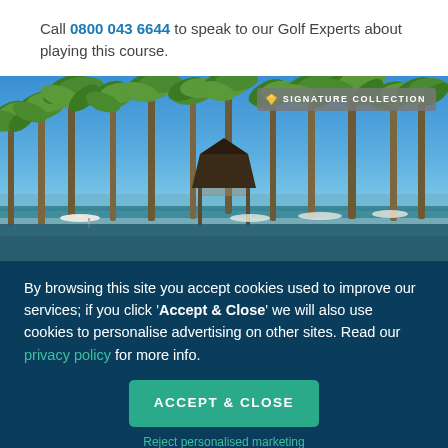Call 0800 043 6644 to speak to our Golf Experts about playing this course.
[Figure (photo): Tropical resort pool area with palm trees and a thatched gazebo under a clear blue sky, with white lounge chairs and ocean in background. A 'Signature Collection' badge appears in the top right corner.]
By browsing this site you accept cookies used to improve our services; if you click 'Accept & Close' we will also use cookies to personalise advertising on other sites. Read our privacy policy for more info.
ACCEPT & CLOSE
Reject personalised marketing